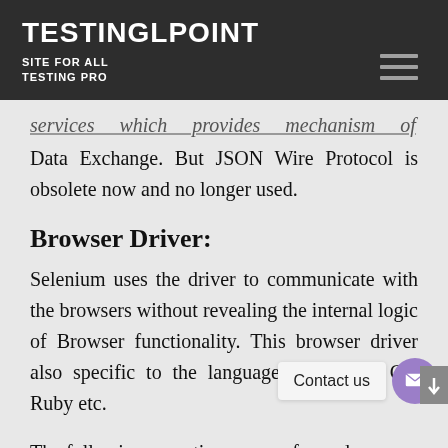TESTINGLPOINT
SITE FOR ALL TESTING PRO
services which provides mechanism of Data Exchange. But JSON Wire Protocol is obsolete now and no longer used.
Browser Driver:
Selenium uses the driver to communicate with the browsers without revealing the internal logic of Browser functionality. This browser driver also specific to the language liker Java, C#, Ruby etc.
The following operations are performed